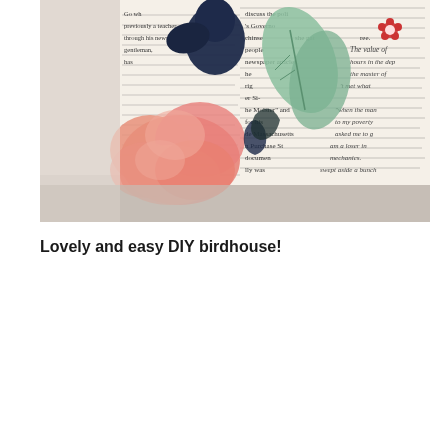[Figure (photo): A close-up photo of a DIY birdhouse decorated with collaged newspaper/book pages and colorful floral illustrations (pink flowers, green leaves, dark navy bird silhouette). The house shape is a box with a pointed roof, sitting on a light surface.]
Lovely and easy DIY birdhouse!